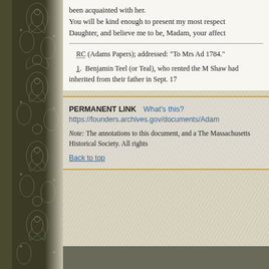been acquainted with her.
You will be kind enough to present my most respect
Daughter, and believe me to be, Madam, your affect
RC (Adams Papers); addressed: "To Mrs Ad 1784."
1. Benjamin Teel (or Teal), who rented the M Shaw had inherited from their father in Sept. 17
PERMANENT LINK   What's this?
https://founders.archives.gov/documents/Adam
Note: The annotations to this document, and a The Massachusetts Historical Society. All rights
Back to top